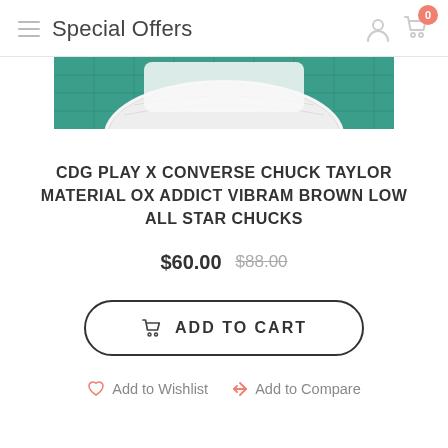Special Offers
[Figure (photo): Partial top view of a white sneaker/shoe sole on a teal cutting mat background]
CDG PLAY X CONVERSE CHUCK TAYLOR MATERIAL OX ADDICT VIBRAM BROWN LOW ALL STAR CHUCKS
$60.00  $88.00
ADD TO CART
Add to Wishlist   Add to Compare